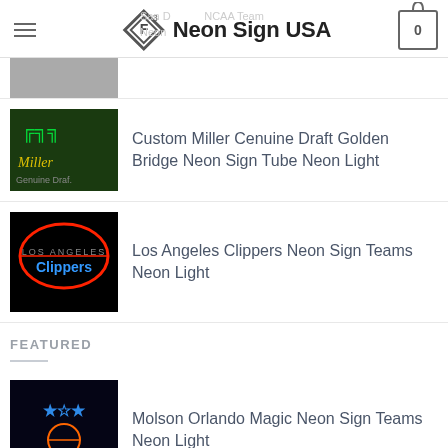Neon Sign USA
Custom Miller Cenuine Draft Golden Bridge Neon Sign Tube Neon Light
Los Angeles Clippers Neon Sign Teams Neon Light
FEATURED
Molson Orlando Magic Neon Sign Teams Neon Light
North Carolina A And T Aggies Neon Sign NCAA Teams Neon Light